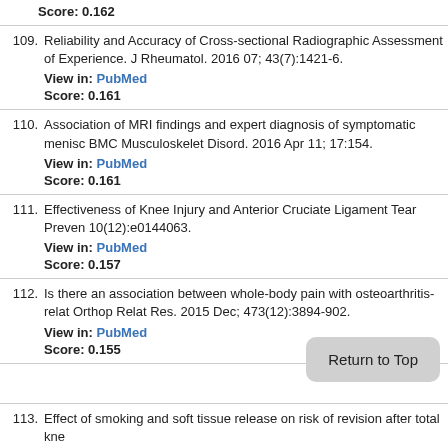Score: 0.162
109. Reliability and Accuracy of Cross-sectional Radiographic Assessment of Experience. J Rheumatol. 2016 07; 43(7):1421-6.
View in: PubMed
Score: 0.161
110. Association of MRI findings and expert diagnosis of symptomatic menisc BMC Musculoskelet Disord. 2016 Apr 11; 17:154.
View in: PubMed
Score: 0.161
111. Effectiveness of Knee Injury and Anterior Cruciate Ligament Tear Preven 10(12):e0144063.
View in: PubMed
Score: 0.157
112. Is there an association between whole-body pain with osteoarthritis-relat Orthop Relat Res. 2015 Dec; 473(12):3894-902.
View in: PubMed
Score: 0.155
113. Effect of smoking and soft tissue release on risk of revision after total kne